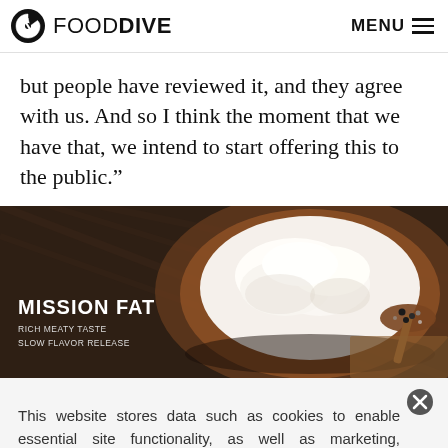FOOD DIVE  MENU
but people have reviewed it, and they agree with us. And so I think the moment that we have that, we intend to start offering this to the public.”
[Figure (photo): Dark background food advertisement image showing a wooden bowl filled with white creamy fat (lard/tallow), with a wooden spoon and spices to the right. Text overlay reads: MISSION FAT / RICH MEATY TASTE / SLOW FLAVOR RELEASE]
This website stores data such as cookies to enable essential site functionality, as well as marketing, personalization, and analytics. By remaining on this website you indicate your consent. Privacy Policy